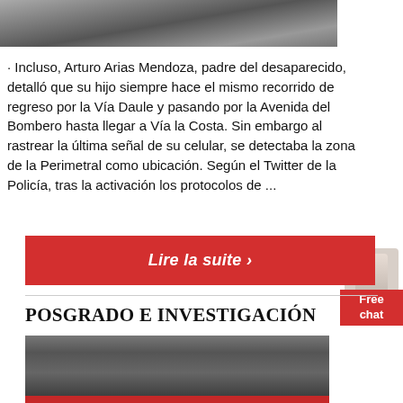[Figure (photo): Aerial or ground-level photo of a dirt or gravel road/terrain, grayscale tones]
· Incluso, Arturo Arias Mendoza, padre del desaparecido, detalló que su hijo siempre hace el mismo recorrido de regreso por la Vía Daule y pasando por la Avenida del Bombero hasta llegar a Vía la Costa. Sin embargo al rastrear la última señal de su celular, se detectaba la zona de la Perimetral como ubicación. Según el Twitter de la Policía, tras la activación los protocolos de ...
[Figure (other): Free chat widget with a woman figure and red chat box labeled 'Free chat']
Lire la suite ›
POSGRADO E INVESTIGACIÓN
[Figure (photo): Interior of a large industrial or stadium building with overhead structure, scoreboard visible]